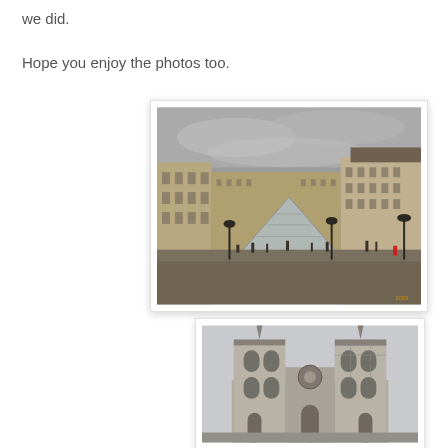we did.
Hope you enjoy the photos too.
[Figure (photo): Photo of the Louvre Museum courtyard with the glass pyramid in the center, overcast sky, people in the foreground, classical French buildings on left and right.]
[Figure (photo): Photo of Notre-Dame Cathedral facade showing twin towers against a light grey sky, partially cropped at bottom.]